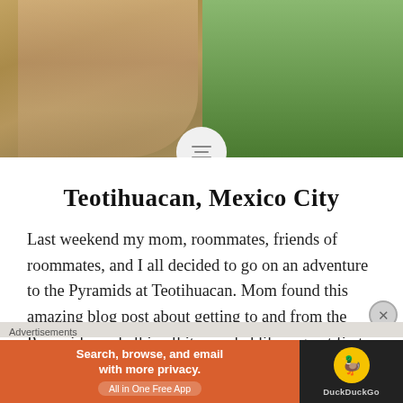[Figure (photo): Hero image of a woman with curly blonde hair wearing a grey tank top, standing in front of a green landscape.]
Teotihuacan, Mexico City
Last weekend my mom, roommates, friends of roommates, and I all decided to go on an adventure to the Pyramids at Teotihuacan. Mom found this amazing blog post about getting to and from the Pyramids, and all in all it sounded like a great first
[Figure (screenshot): DuckDuckGo advertisement banner: 'Search, browse, and email with more privacy. All in One Free App' with DuckDuckGo logo on the right.]